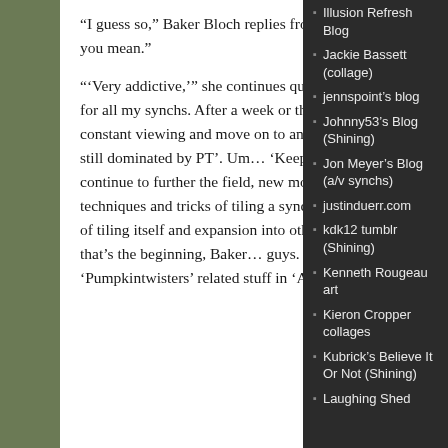“I guess so,” Baker Bloch replies from across The Table. “My user, you mean.”
“‘Very addictive,’” she continues quoting, “‘but this is the pattern for all my synchs. After a week or three, I’ll get tired of this constant viewing and move on to another project. But right now I’m still dominated by PT’. Um… ‘Keep thinking about how I can continue to further the field, new movies to try, new albums, new techniques and tricks of tiling a synch, theorizing about the process of tiling itself and expansion into other hypothetical synchy arts.’ So that’s the beginning, Baker… guys. Should I just spot-read more ‘Pumpkintwisters’ related stuff in ‘Apple’, Baker?”
Illusion Refresh Blog
Jackie Bassett (collage)
jennspoint’s blog
Johnny53’s Blog (Shining)
Jon Meyer’s Blog (a/v synchs)
justinduerr.com
kdk12 tumblr (Shining)
Kenneth Rougeau art
Kieron Cropper collages
Kubrick’s Believe It Or Not (Shining)
Laughing Shed